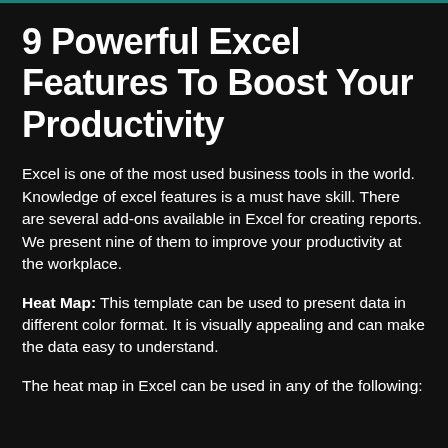9 Powerful Excel Features To Boost Your Productivity
Excel is one of the most used business tools in the world. Knowledge of excel features is a must have skill. There are several add-ons available in Excel for creating reports. We present nine of them to improve your productivity at the workplace.
Heat Map: This template can be used to present data in different color format. It is visually appealing and can make the data easy to understand.
The heat map in Excel can be used in any of the following: